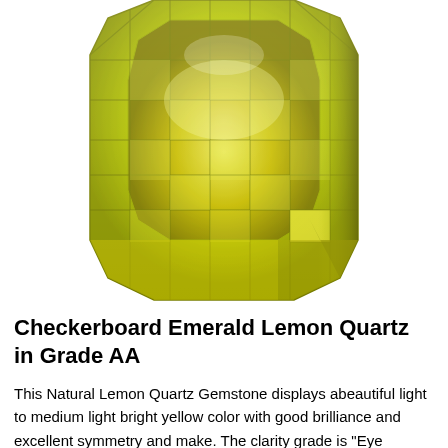[Figure (photo): Close-up photograph of a faceted checkerboard emerald cut lemon quartz gemstone. The stone is a vibrant yellow-green color with multiple facets visible, showing brilliant reflections and transparency. The gem is rectangular/elongated in shape with cut facets on both the top table and sides.]
Checkerboard Emerald Lemon Quartz in Grade AA
This Natural Lemon Quartz Gemstone displays abeautiful light to medium light bright yellow color with good brilliance and excellent symmetry and make. The clarity grade is "Eye Clean". This Lemon Quartz Gemstone has been enhanced with